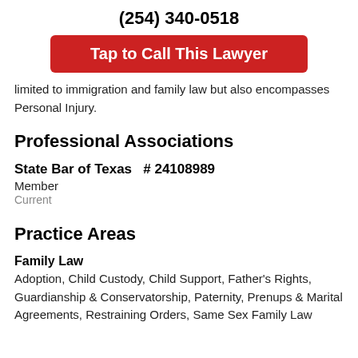(254) 340-0518
[Figure (other): Red button: Tap to Call This Lawyer]
limited to immigration and family law but also encompasses Personal Injury.
Professional Associations
State Bar of Texas  # 24108989
Member
Current
Practice Areas
Family Law
Adoption, Child Custody, Child Support, Father's Rights, Guardianship & Conservatorship, Paternity, Prenups & Marital Agreements, Restraining Orders, Same Sex Family Law